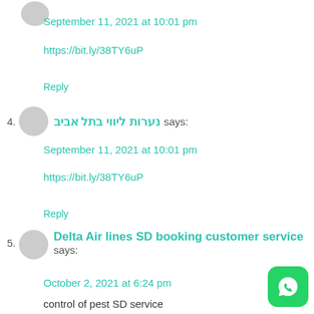September 11, 2021 at 10:01 pm
https://bit.ly/38TY6uP
Reply
4. נערות ליווי בתל אביב says:
September 11, 2021 at 10:01 pm
https://bit.ly/38TY6uP
Reply
5. Delta Air lines SD booking customer service says:
October 2, 2021 at 6:24 pm
control of pest SD service
https://www.uvaldeleadernews.com/?s=control+of+pest+%E2%98%8E+1%28844%299%B4
Reply
[Figure (logo): WhatsApp button icon, green rounded square with white phone icon]